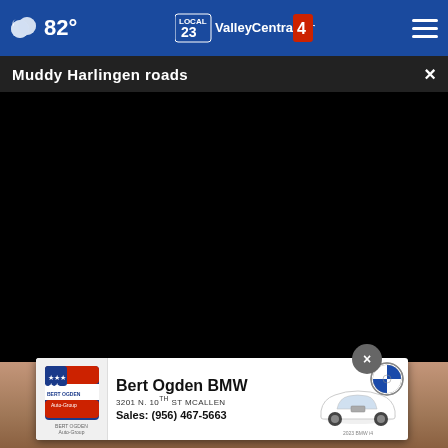82° ValleyCentral.com
Muddy Harlingen roads
[Figure (screenshot): Black video player area for 'Muddy Harlingen roads' news video]
[Figure (photo): Partial photo visible below video, showing a person outdoors]
[Figure (infographic): Bert Ogden BMW advertisement: logo, 3201 N. 10th St McAllen, Sales: (956) 467-5663, BMW car image, BMW roundel logo]